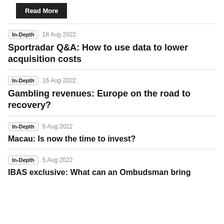[Figure (other): Read More button — black rectangle with white bold text]
In-Depth  18 Aug 2022
Sportradar Q&A: How to use data to lower acquisition costs
In-Depth  16 Aug 2022
Gambling revenues: Europe on the road to recovery?
In-Depth  9 Aug 2022
Macau: Is now the time to invest?
In-Depth  5 Aug 2022
IBAS exclusive: What can an Ombudsman bring